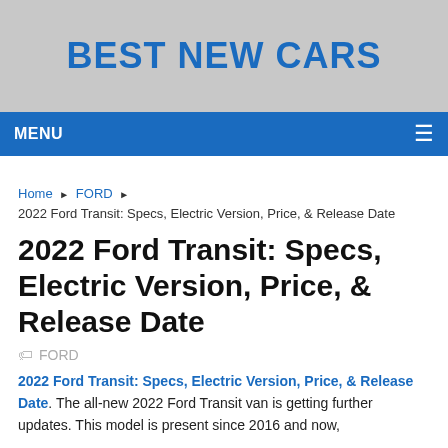BEST NEW CARS
MENU
Home ▶ FORD ▶ 2022 Ford Transit: Specs, Electric Version, Price, & Release Date
2022 Ford Transit: Specs, Electric Version, Price, & Release Date
FORD
2022 Ford Transit: Specs, Electric Version, Price, & Release Date. The all-new 2022 Ford Transit van is getting further updates. This model is present since 2016 and now,